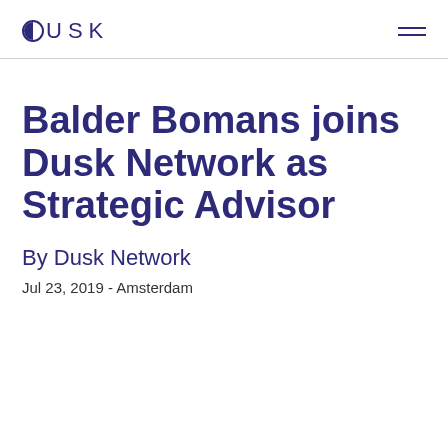DUSK
Balder Bomans joins Dusk Network as Strategic Advisor
By Dusk Network
Jul 23, 2019 - Amsterdam